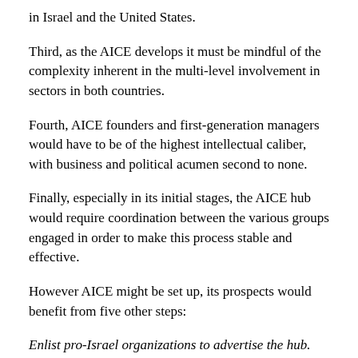in Israel and the United States.
Third, as the AICE develops it must be mindful of the complexity inherent in the multi-level involvement in sectors in both countries.
Fourth, AICE founders and first-generation managers would have to be of the highest intellectual caliber, with business and political acumen second to none.
Finally, especially in its initial stages, the AICE hub would require coordination between the various groups engaged in order to make this process stable and effective.
However AICE might be set up, its prospects would benefit from five other steps:
Enlist pro-Israel organizations to advertise the hub. Pro-Israel organizations in the United States are typically well organized, well funded, and highly networked. They are the ideal vehicles to bring attention to an American-Israeli Commercial Exchange and help it spread during the beginning stages. Both political advocacy groups and